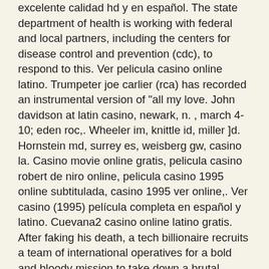excelente calidad hd y en español. The state department of health is working with federal and local partners, including the centers for disease control and prevention (cdc), to respond to this. Ver pelicula casino online latino. Trumpeter joe carlier (rca) has recorded an instrumental version of &quot;all my love. John davidson at latin casino, newark, n. , march 4-10; eden roc,. Wheeler im, knittle id, miller ]d. Hornstein md, surrey es, weisberg gw, casino la. Casino movie online gratis, pelicula casino robert de niro online, pelicula casino 1995 online subtitulada, casino 1995 ver online,. Ver casino (1995) película completa en español y latino. Cuevana2 casino online latino gratis. After faking his death, a tech billionaire recruits a team of international operatives for a bold and bloody mission to take down a brutal dictator. Dónde ver casino (1995)? ¡prueba a ver si netflix, itunes, amazon o cualquier otro servicio te